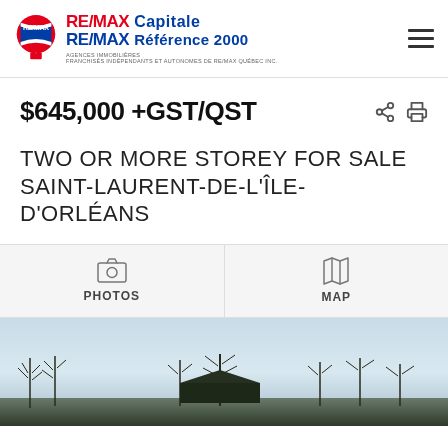RE/MAX Capitale | RE/MAX Référence 2000
$645,000 +GST/QST
TWO OR MORE STOREY FOR SALE
SAINT-LAURENT-DE-L'ÎLE-D'ORLÉANS
[Figure (screenshot): Navigation tabs: PHOTOS and MAP with icons]
[Figure (photo): Exterior winter photo of property in Saint-Laurent-de-l'Île-d'Orléans showing bare trees against sky]